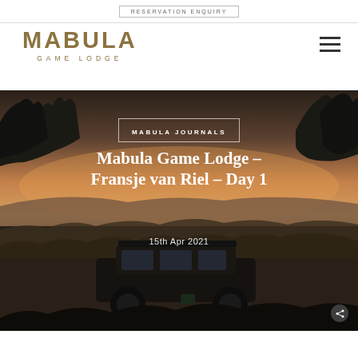RESERVATION ENQUIRY
[Figure (logo): Mabula Game Lodge logo with gold/tan lettering]
[Figure (photo): Safari bushveld landscape at dusk/twilight with vehicle silhouette in foreground and trees against an orange-purple sky]
MABULA JOURNALS
Mabula Game Lodge – Fransje van Riel – Day 1
15th Apr 2021